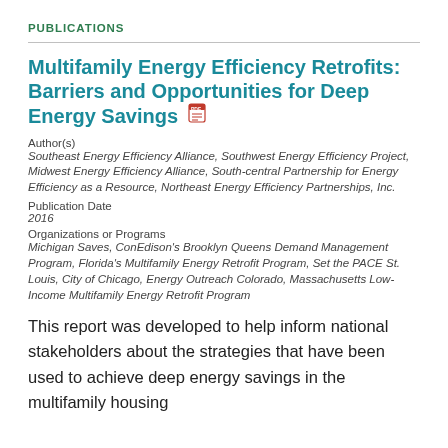PUBLICATIONS
Multifamily Energy Efficiency Retrofits: Barriers and Opportunities for Deep Energy Savings
Author(s)
Southeast Energy Efficiency Alliance, Southwest Energy Efficiency Project, Midwest Energy Efficiency Alliance, South-central Partnership for Energy Efficiency as a Resource, Northeast Energy Efficiency Partnerships, Inc.
Publication Date
2016
Organizations or Programs
Michigan Saves, ConEdison's Brooklyn Queens Demand Management Program, Florida's Multifamily Energy Retrofit Program, Set the PACE St. Louis, City of Chicago, Energy Outreach Colorado, Massachusetts Low-Income Multifamily Energy Retrofit Program
This report was developed to help inform national stakeholders about the strategies that have been used to achieve deep energy savings in the multifamily housing